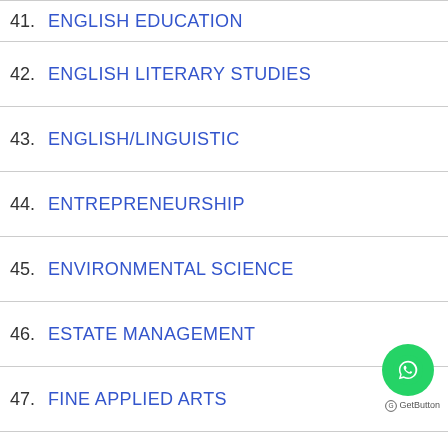41. ENGLISH EDUCATION (partial)
42. ENGLISH LITERARY STUDIES
43. ENGLISH/LINGUISTIC
44. ENTREPRENEURSHIP
45. ENVIRONMENTAL SCIENCE
46. ESTATE MANAGEMENT
47. FINE APPLIED ARTS
48. FISHERY AND AQUACULTURE
49. FOOD AND NUTRITION
50. FOOD SCIENCE & TECHNOLOGY (partial)